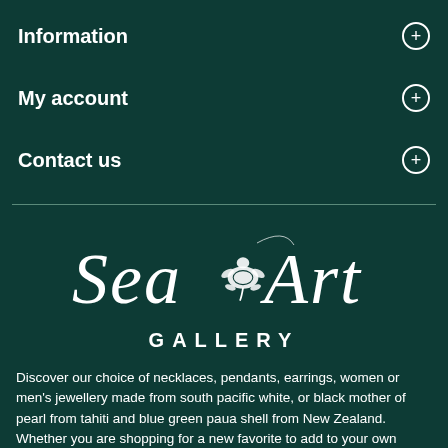Information
My account
Contact us
[Figure (logo): Sea Art Gallery logo in white cursive script with a turtle illustration, on dark teal background, with 'GALLERY' in spaced capital letters below]
Discover our choice of necklaces, pendants, earrings, women or men's jewellery made from south pacific white, or black mother of pearl from tahiti and blue green paua shell from New Zealand. Whether you are shopping for a new favorite to add to your own jewellery collection, or a special gift for a loved one, you will find the item you are looking for among our collection of unique ethnic motifs inspired by polynesia